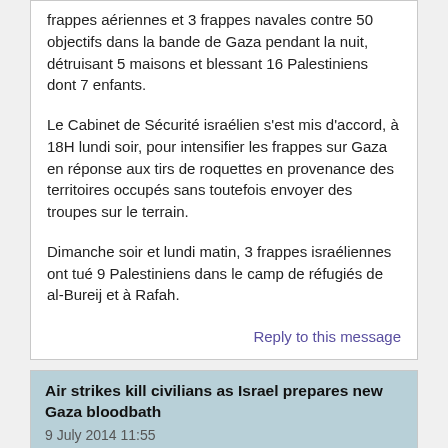frappes aériennes et 3 frappes navales contre 50 objectifs dans la bande de Gaza pendant la nuit, détruisant 5 maisons et blessant 16 Palestiniens dont 7 enfants.
Le Cabinet de Sécurité israélien s'est mis d'accord, à 18H lundi soir, pour intensifier les frappes sur Gaza en réponse aux tirs de roquettes en provenance des territoires occupés sans toutefois envoyer des troupes sur le terrain.
Dimanche soir et lundi matin, 3 frappes israéliennes ont tué 9 Palestiniens dans le camp de réfugiés de al-Bureij et à Rafah.
Reply to this message
Air strikes kill civilians as Israel prepares new Gaza bloodbath
9 July 2014 11:55
Les précédentes agressions militaires israéliennes en 2008-2009 et en 2012 ont contraint des milliers de Gazaouis à rester enfermés chez eux pendant des jours et des jours.